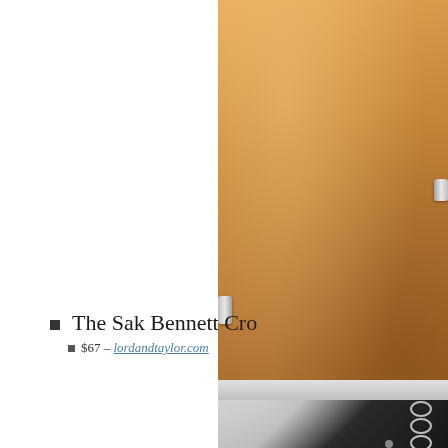[Figure (photo): Partial view of a tan/camel colored suede or leather crossbody bag with silver hardware on the sides, cropped at the upper right of the page]
The Sak Bennett Cro
$67 – lordandtaylor.com
[Figure (photo): Partial view of a dark/black crossbody bag with silver chain strap and rivet details, showing the upper portion cropped at the lower right of the page]